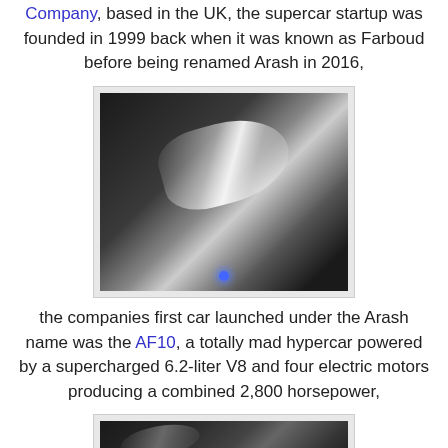Company, based in the UK, the supercar startup was founded in 1999 back when it was known as Farboud before being renamed Arash in 2016,
[Figure (photo): Close-up front/hood view of a dark metallic supercar with reflective surfaces and a blue LED accent light at the bottom center]
the companies first car launched under the Arash name was the AF10, a totally mad hypercar powered by a supercharged 6.2-liter V8 and four electric motors producing a combined 2,800 horsepower,
[Figure (photo): Partial side/front view of a dark supercar showing sleek bodywork]